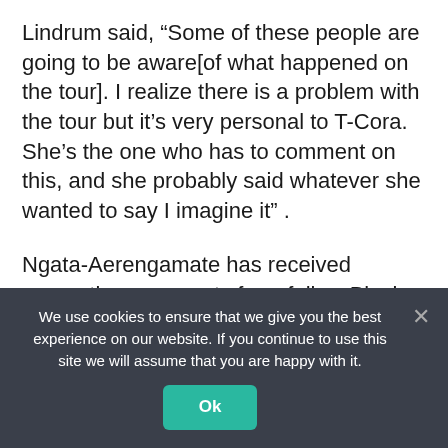Lindrum said, “Some of these people are going to be aware[of what happened on the tour]. I realize there is a problem with the tour but it’s very personal to T-Cora. She’s the one who has to comment on this, and she probably said whatever she wanted to say I imagine it” .
Ngata-Aerengamate has received supportive comments from fellow Black Ferns, including Chelsea Alley, Dhys Faleafaga, Carla Hohepa, and Ayesha Leti-liga, as well as All Blacks
We use cookies to ensure that we give you the best experience on our website. If you continue to use this site we will assume that you are happy with it.